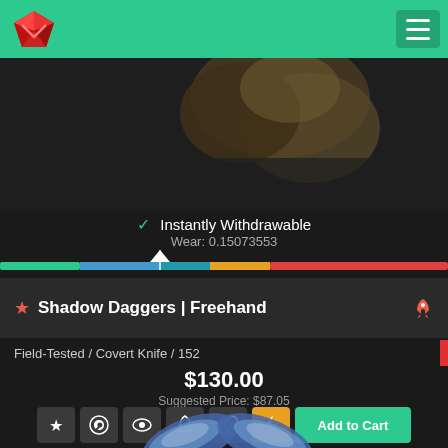Shadow Daggers | Freehand - Gaming marketplace header
[Figure (screenshot): Partial view of Shadow Daggers | Freehand weapon skin from CS:GO, showing brown/tan camo texture on dark background]
Instantly Withdrawable
Wear: 0.15073553
[Figure (infographic): Wear bar showing gradient from teal/blue on left to orange/red on right, with a downward arrow indicator positioned at approximately 15% from the left]
★ Shadow Daggers | Freehand
Field-Tested / Covert Knife / 152
$130.00
Suggested Price: $87.05
[Figure (screenshot): Action buttons row: star/favorite, Steam, eye/inspect, alert, link, lightning bolt (yellow), and Add to Cart (green) button]
[Figure (photo): Shadow Daggers | Freehand weapon skin showing blue/white pattern on knife blades, partially visible at bottom of screen]